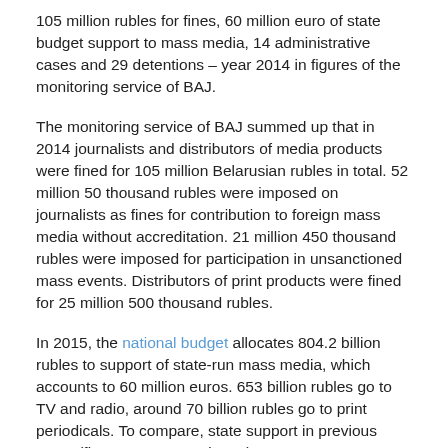105 million rubles for fines, 60 million euro of state budget support to mass media, 14 administrative cases and 29 detentions – year 2014 in figures of the monitoring service of BAJ.
The monitoring service of BAJ summed up that in 2014 journalists and distributors of media products were fined for 105 million Belarusian rubles in total. 52 million 50 thousand rubles were imposed on journalists as fines for contribution to foreign mass media without accreditation. 21 million 450 thousand rubles were imposed for participation in unsanctioned mass events. Distributors of print products were fined for 25 million 500 thousand rubles.
In 2015, the national budget allocates 804.2 billion rubles to support of state-run mass media, which accounts to 60 million euros. 653 billion rubles go to TV and radio, around 70 billion rubles go to print periodicals. To compare, state support in previous years (figures are approximate):